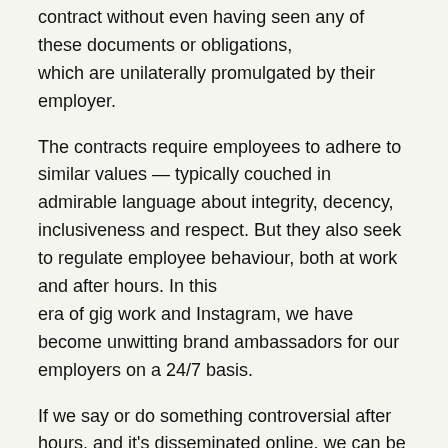contract without even having seen any of these documents or obligations, which are unilaterally promulgated by their employer.
The contracts require employees to adhere to similar values — typically couched in admirable language about integrity, decency, inclusiveness and respect. But they also seek to regulate employee behaviour, both at work and after hours. In this era of gig work and Instagram, we have become unwitting brand ambassadors for our employers on a 24/7 basis.
If we say or do something controversial after hours, and it's disseminated online, we can be fired.
Were noted controversialist Jesus Christ alive today, he would be unemployable.
While companies proudly trumpet their values, there's another